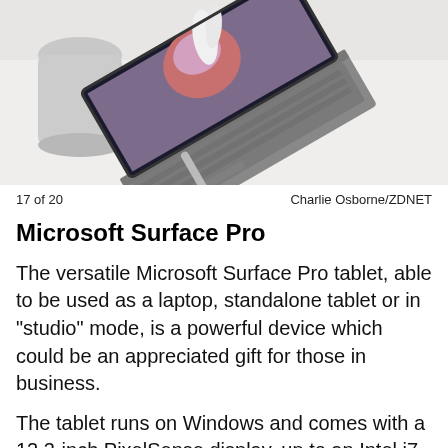[Figure (photo): Overhead view of a Microsoft Surface Pro tablet with keyboard cover attached, stylus pen nearby, and a gray mug in the background, on a white surface. Screen displays a colorful bird image.]
17 of 20	Charlie Osborne/ZDNET
Microsoft Surface Pro
The versatile Microsoft Surface Pro tablet, able to be used as a laptop, standalone tablet or in "studio" mode, is a powerful device which could be an appreciated gift for those in business.
The tablet runs on Windows and comes with a 12.3-inch PixelSense display, up to an Intel i7 processor